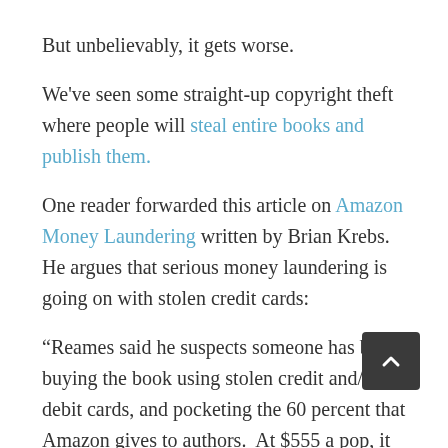But unbelievably, it gets worse.
We've seen some straight-up copyright theft where people will steal entire books and publish them.
One reader forwarded this article on Amazon Money Laundering written by Brian Krebs.  He argues that serious money laundering is going on with stolen credit cards:
“Reames said he suspects someone has been buying the book using stolen credit and/or debit cards, and pocketing the 60 percent that Amazon gives to authors.  At $555 a pop, it would only take approximately 0 sales over three months to rack up the earnings that Amazon said he made.”